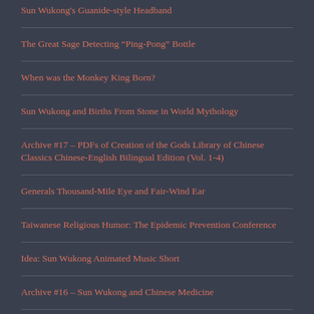Sun Wukong's Guanide-style Headband
The Great Sage Detecting “Ping-Pong” Bottle
When was the Monkey King Born?
Sun Wukong and Births From Stone in World Mythology
Archive #17 – PDFs of Creation of the Gods Library of Chinese Classics Chinese-English Bilingual Edition (Vol. 1-4)
Generals Thousand-Mile Eye and Fair-Wind Ear
Taiwanese Religious Humor: The Epidemic Prevention Conference
Idea: Sun Wukong Animated Music Short
Archive #16 – Sun Wukong and Chinese Medicine
The Monkey King Temples of Fujian